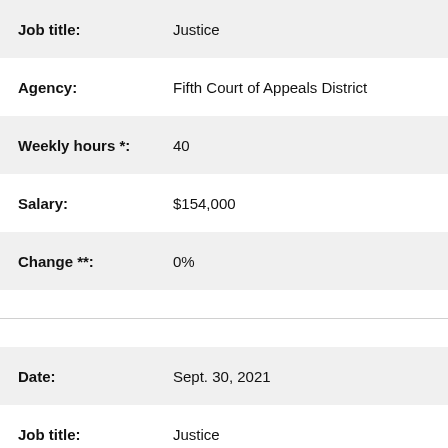| Job title: | Justice |
| Agency: | Fifth Court of Appeals District |
| Weekly hours *: | 40 |
| Salary: | $154,000 |
| Change **: | 0% |
| Date: | Sept. 30, 2021 |
| Job title: | Justice |
| Agency: | Fifth Court of Appeals District |
| Weekly hours *: | 40 |
| Salary: | $154,000 |